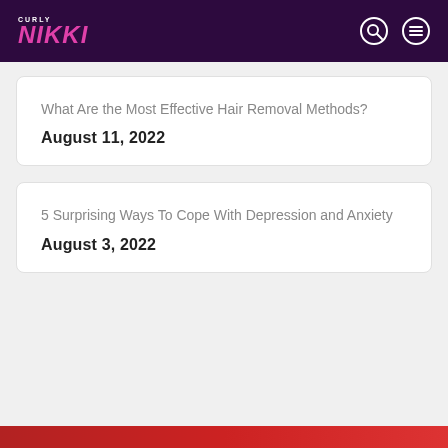CURLY NIKKI
What Are the Most Effective Hair Removal Methods?
August 11, 2022
5 Surprising Ways To Cope With Depression and Anxiety
August 3, 2022